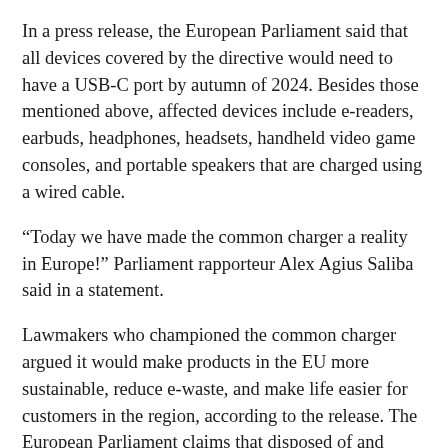In a press release, the European Parliament said that all devices covered by the directive would need to have a USB-C port by autumn of 2024. Besides those mentioned above, affected devices include e-readers, earbuds, headphones, headsets, handheld video game consoles, and portable speakers that are charged using a wired cable.
“Today we have made the common charger a reality in Europe!” Parliament rapporteur Alex Agius Saliba said in a statement.
Lawmakers who championed the common charger argued it would make products in the EU more sustainable, reduce e-waste, and make life easier for customers in the region, according to the release. The European Parliament claims that disposed of and unused chargers generate 11,000 tons of e-waste per year; it also stated that a common charger would help consumers save up to €250 million ($US266